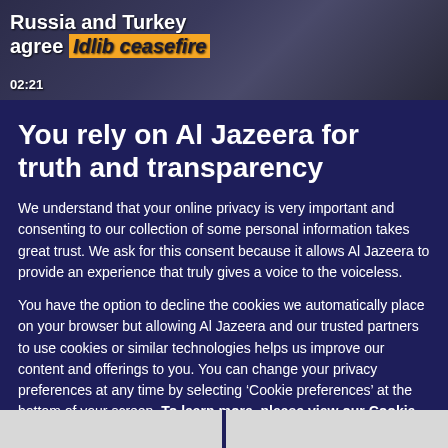[Figure (screenshot): Video thumbnail showing news headline about Russia and Turkey agreeing Idlib ceasefire, with timestamp 02:21]
You rely on Al Jazeera for truth and transparency
We understand that your online privacy is very important and consenting to our collection of some personal information takes great trust. We ask for this consent because it allows Al Jazeera to provide an experience that truly gives a voice to the voiceless.
You have the option to decline the cookies we automatically place on your browser but allowing Al Jazeera and our trusted partners to use cookies or similar technologies helps us improve our content and offerings to you. You can change your privacy preferences at any time by selecting ‘Cookie preferences’ at the bottom of your screen. To learn more, please view our Cookie Policy.